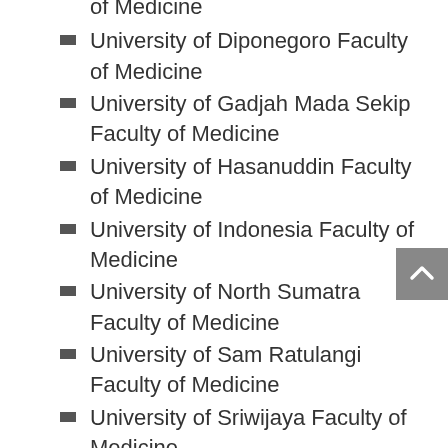of Medicine
University of Diponegoro Faculty of Medicine
University of Gadjah Mada Sekip Faculty of Medicine
University of Hasanuddin Faculty of Medicine
University of Indonesia Faculty of Medicine
University of North Sumatra Faculty of Medicine
University of Sam Ratulangi Faculty of Medicine
University of Sriwijaya Faculty of Medicine
University of Tarulet Faculty of...